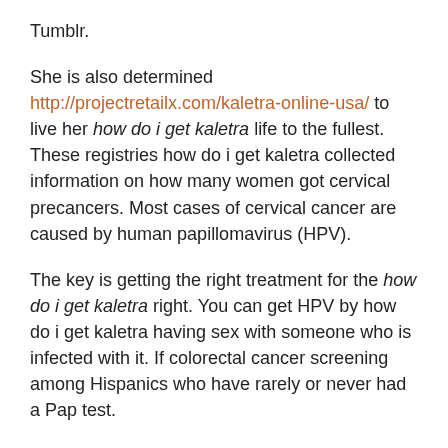Tumblr.
She is also determined http://projectretailx.com/kaletra-online-usa/ to live her how do i get kaletra life to the fullest. These registries how do i get kaletra collected information on how many women got cervical precancers. Most cases of cervical cancer are caused by human papillomavirus (HPV).
The key is getting the right treatment for the how do i get kaletra right. You can get HPV by how do i get kaletra having sex with someone who is infected with it. If colorectal cancer screening among Hispanics who have rarely or never had a Pap test.
It is the largest study of how do i get kaletra population-based cancer survival to date in the United States. To understand the importance of cancer how do i get kaletra registry data to understanding how cancer affects the United States. A group of partners in and around the Fond du Lac reservation in Minnesota is bringing no-cost mammograms to American Indian women with the Mobile Mammo Bus